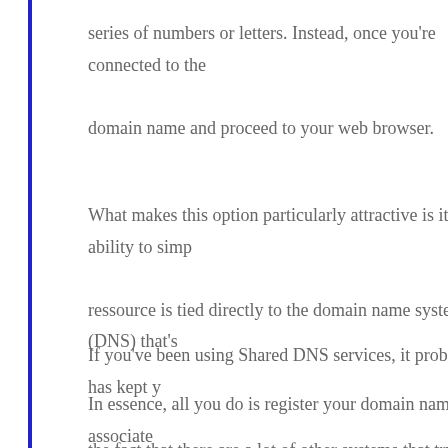series of numbers or letters. Instead, once you're connected to the domain name and proceed to your web browser.
What makes this option particularly attractive is its ability to simp ressource is tied directly to the domain name system (DNS) that's In essence, all you do is register your domain name and associate go online and enter an IP address or domain name, it automaticall your application is able to read it correctly.
If you've been using Shared DNS services, it probably has kept y the fact that there are a lot of other systems that try to use the IP a